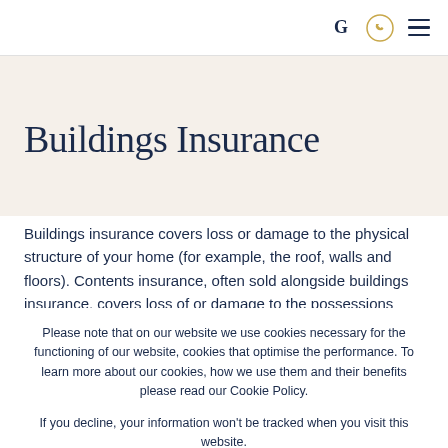G [phone icon] [menu icon]
Buildings Insurance
Buildings insurance covers loss or damage to the physical structure of your home (for example, the roof, walls and floors). Contents insurance, often sold alongside buildings insurance, covers loss of or damage to the possessions
Please note that on our website we use cookies necessary for the functioning of our website, cookies that optimise the performance. To learn more about our cookies, how we use them and their benefits please read our Cookie Policy.

If you decline, your information won’t be tracked when you visit this website.
Accept | Decline